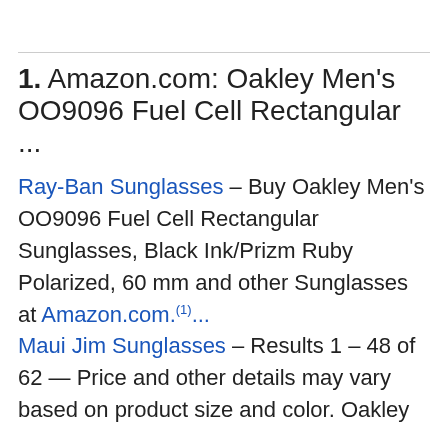1. Amazon.com: Oakley Men's OO9096 Fuel Cell Rectangular ...
Ray-Ban Sunglasses – Buy Oakley Men's OO9096 Fuel Cell Rectangular Sunglasses, Black Ink/Prizm Ruby Polarized, 60 mm and other Sunglasses at Amazon.com.(1)... Maui Jim Sunglasses – Results 1 – 48 of 62 — Price and other details may vary based on product size and color. Oakley Men's Oo9096 Fuel Cell Rectangu...